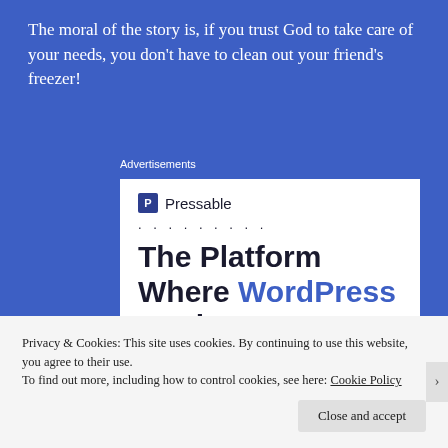The moral of the story is, if you trust God to take care of your needs, you don't have to clean out your friend's freezer!
Advertisements
[Figure (screenshot): Pressable advertisement: logo with dotted line, headline 'The Platform Where WordPress Works Best', blue 'SEE PRICING' button]
Privacy & Cookies: This site uses cookies. By continuing to use this website, you agree to their use.
To find out more, including how to control cookies, see here: Cookie Policy
Close and accept